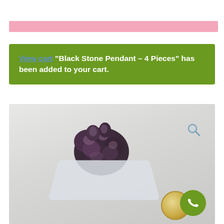View cart “Black Stone Pendant – 4 Pieces” has been added to your cart.
[Figure (photo): Photo of a dark purple/black rough stone (cluster mineral specimen) sitting on bubble wrap packaging, with a coin placed nearby for size reference. A magnifying glass icon appears in the upper right of the image. A green phone button appears in the lower right corner.]